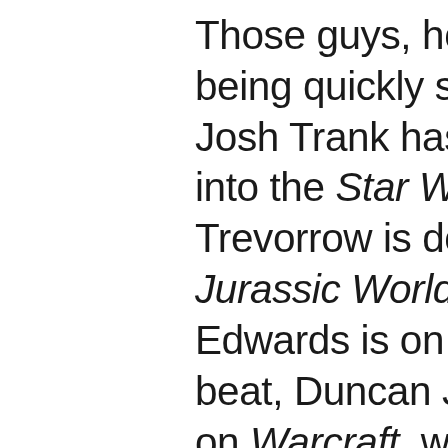Those guys, however, are being quickly snatched up: Josh Trank has been drafted into the Star Wars field, Colin Trevorrow is doing the Jurassic World movies, Gareth Edwards is on the Godzilla beat, Duncan Jones is working on Warcraft, while some of the other younger talented directors (James Pondsoldt, Joe Swanberg, Jeff Nichols, Zal Batmanglij, Ti West) probably aren't as interested in franchises.